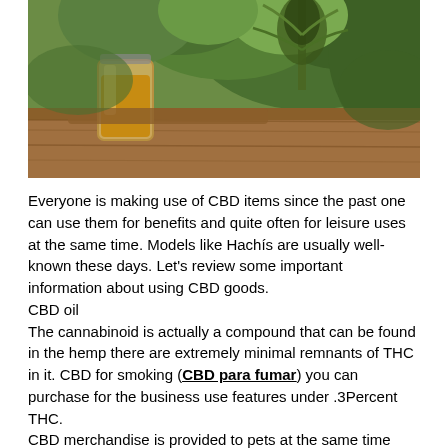[Figure (photo): Photo of a glass jar with golden/amber CBD oil on a wooden surface, with green hemp/cannabis plant leaves in the background]
Everyone is making use of CBD items since the past one can use them for benefits and quite often for leisure uses at the same time. Models like Hachís are usually well-known these days. Let's review some important information about using CBD goods.
CBD oil
The cannabinoid is actually a compound that can be found in the hemp there are extremely minimal remnants of THC in it. CBD for smoking (CBD para fumar) you can purchase for the business use features under .3Percent THC.
CBD merchandise is provided to pets at the same time People even offered CBD items like cannabinoid oils for